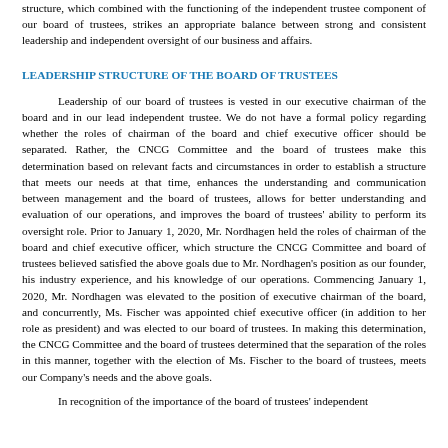structure, which combined with the functioning of the independent trustee component of our board of trustees, strikes an appropriate balance between strong and consistent leadership and independent oversight of our business and affairs.
LEADERSHIP STRUCTURE OF THE BOARD OF TRUSTEES
Leadership of our board of trustees is vested in our executive chairman of the board and in our lead independent trustee. We do not have a formal policy regarding whether the roles of chairman of the board and chief executive officer should be separated. Rather, the CNCG Committee and the board of trustees make this determination based on relevant facts and circumstances in order to establish a structure that meets our needs at that time, enhances the understanding and communication between management and the board of trustees, allows for better understanding and evaluation of our operations, and improves the board of trustees' ability to perform its oversight role. Prior to January 1, 2020, Mr. Nordhagen held the roles of chairman of the board and chief executive officer, which structure the CNCG Committee and board of trustees believed satisfied the above goals due to Mr. Nordhagen's position as our founder, his industry experience, and his knowledge of our operations. Commencing January 1, 2020, Mr. Nordhagen was elevated to the position of executive chairman of the board, and concurrently, Ms. Fischer was appointed chief executive officer (in addition to her role as president) and was elected to our board of trustees. In making this determination, the CNCG Committee and the board of trustees determined that the separation of the roles in this manner, together with the election of Ms. Fischer to the board of trustees, meets our Company's needs and the above goals.
In recognition of the importance of the board of trustees' independent